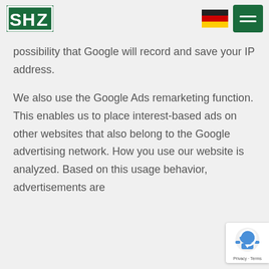[Figure (logo): SHZ logo — white S, H, Z letters in a green-bordered box]
[Figure (illustration): German flag icon (black, red, gold horizontal stripes)]
[Figure (illustration): Green hamburger menu button with two white horizontal lines]
possibility that Google will record and save your IP address.
We also use the Google Ads remarketing function. This enables us to place interest-based ads on other websites that also belong to the Google advertising network. How you use our website is analyzed. Based on this usage behavior, advertisements are
[Figure (illustration): Google reCAPTCHA badge with robot icon and Privacy - Terms text]